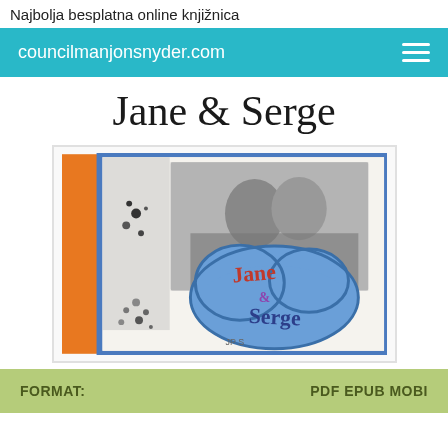Najbolja besplatna online knjižnica
councilmanjonsnyder.com
Jane & Serge
[Figure (photo): Book cover of 'Jane & Serge' showing a collage-style cover with a black and white photo of a couple, decorative floral elements, and colorful embroidered-style lettering reading 'Jane & Serge' on a blue cloud shape, with an orange spine.]
FORMAT:	PDF EPUB MOBI